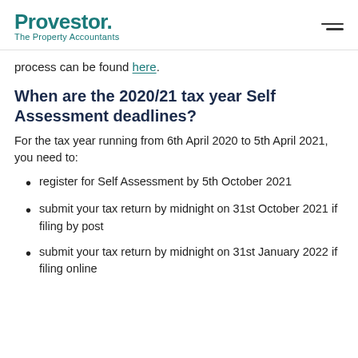Provestor. The Property Accountants
process can be found here.
When are the 2020/21 tax year Self Assessment deadlines?
For the tax year running from 6th April 2020 to 5th April 2021, you need to:
register for Self Assessment by 5th October 2021
submit your tax return by midnight on 31st October 2021 if filing by post
submit your tax return by midnight on 31st January 2022 if filing online